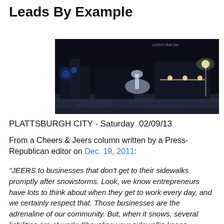Leads By Example
[Figure (photo): Night-time photo of a snowy city street/business area with lights illuminating the scene]
PLATTSBURGH CITY - Saturday  02/09/13
From a Cheers & Jeers column written by a Press-Republican editor on Dec. 19, 2011:
"JEERS to businesses that don't get to their sidewalks promptly after snowstorms. Look, we know entrepreneurs have lots to think about when they get to work every day, and we certainly respect that. Those businesses are the adrenaline of our community. But, when it snows, several liabilities are at work: Shoveling your sidewalks keeps pedestrian traffic flowing; it allows customers to safely enter your emporium without interference; and, in the City of